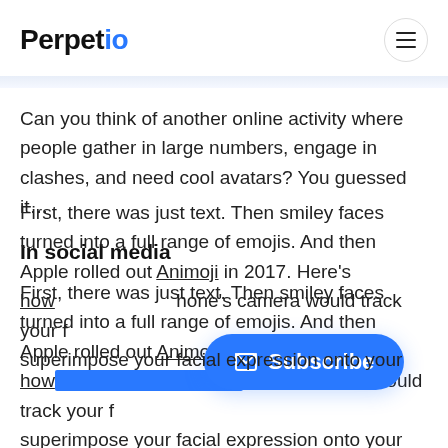Perpetio
Can you think of another online activity where people gather in large numbers, engage in clashes, and need cool avatars? You guessed it…
In social media
First, there was just text. Then smiley faces turned into a full range of emojis. And then Apple rolled out Animoji in 2017. Here's how [the] iPhone's camera would track your [face and] superimpose your facial expression onto your